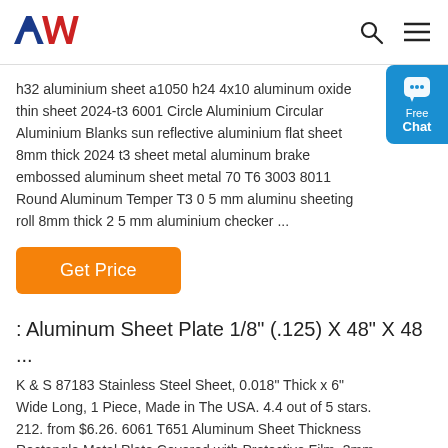AW logo with search and menu icons
h32 aluminium sheet a1050 h24 4x10 aluminum oxide thin sheet 2024-t3 6001 Circle Aluminium Circular Aluminium Blanks sun reflective aluminium flat sheet 8mm thick 2024 t3 sheet metal aluminum brake embossed aluminum sheet metal 70 T6 3003 8011 Round Aluminum Temper T3 0 5 mm aluminu sheeting roll 8mm thick 2 5 mm aluminium checker ...
[Figure (other): Blue chat widget on right side with speech bubble icon and text Free Chat]
Get Price
: Aluminum Sheet Plate 1/8" (.125) X 48" X 48 ...
K & S 87183 Stainless Steel Sheet, 0.018" Thick x 6" Wide Long, 1 Piece, Made in The USA. 4.4 out of 5 stars. 212. from $6.26. 6061 T651 Aluminum Sheet Thickness Rectangle Metal Plate Covered with Protective Film, 3mm Aluminum Sheet Plate Flat Stock, Finely Polished and Deburred.